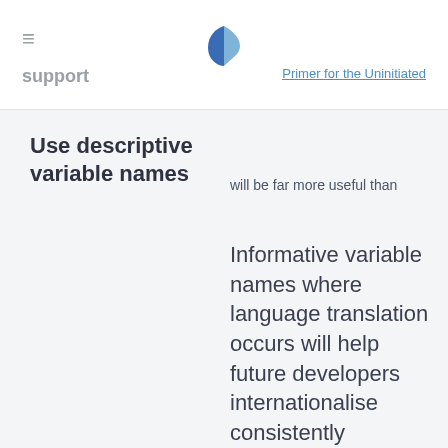≡  [header nav]  Primer for the Uninitiated
Use descriptive variable names
will be far more useful than
Informative variable names where language translation occurs will help future developers internationalise consistently